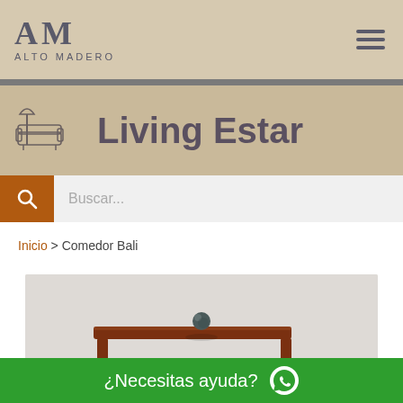AM ALTO MADERO
Living Estar
Buscar...
Inicio > Comedor Bali
[Figure (photo): Product photo showing a dark wood coffee table with a decorative sphere on top, on a light grey background]
¿Necesitas ayuda?